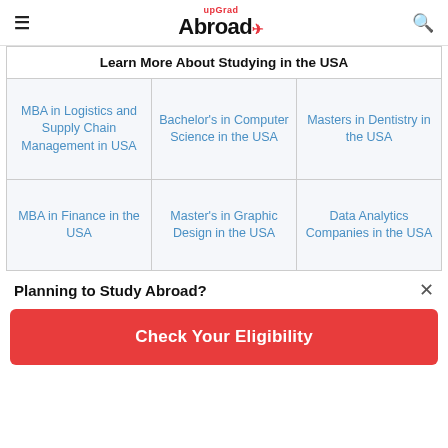upGrad Abroad
| Learn More About Studying in the USA |
| --- |
| MBA in Logistics and Supply Chain Management in USA | Bachelor's in Computer Science in the USA | Masters in Dentistry in the USA |
| MBA in Finance in the USA | Master's in Graphic Design in the USA | Data Analytics Companies in the USA |
Planning to Study Abroad?
Check Your Eligibility